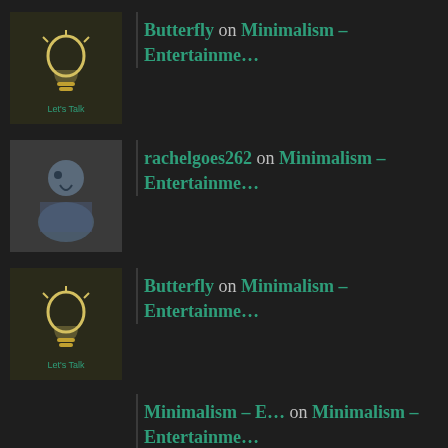Butterfly on Minimalism – Entertainme…
rachelgoes262 on Minimalism – Entertainme…
Butterfly on Minimalism – Entertainme…
Minimalism – E… on Minimalism – Entertainme…
rachelgoes262 on Bad Neighbors 2
ARCHIVES
August 2022